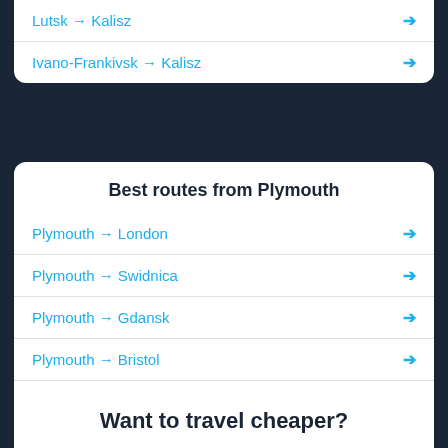Lutsk → Kalisz
Ivano-Frankivsk → Kalisz
Best routes from Plymouth
Plymouth → London
Plymouth → Swidnica
Plymouth → Gdansk
Plymouth → Bristol
Plymouth → London airport Luton
Plymouth → Exeter
Want to travel cheaper?